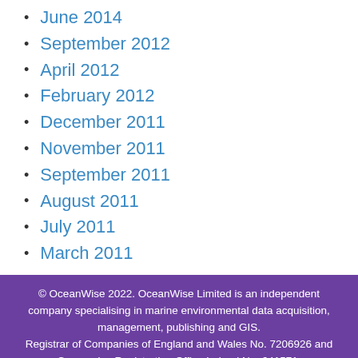June 2014
September 2012
April 2012
February 2012
December 2011
November 2011
September 2011
August 2011
July 2011
March 2011
© OceanWise 2022. OceanWise Limited is an independent company specialising in marine environmental data acquisition, management, publishing and GIS. Registrar of Companies of England and Wales No. 7206926 and Companies Registration Office Ireland No. 641571.
Terms & Conditions | Privacy Notice | Contact Us